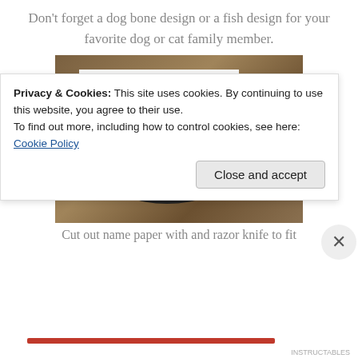Don't forget a dog bone design or a fish design for your favorite dog or cat family member.
[Figure (photo): A black dog-tag shaped piece of cardstock on white paper on a wooden table, with a hand holding a razor/craft knife on the right side.]
Cut out name paper with and razor knife to fit
Privacy & Cookies: This site uses cookies. By continuing to use this website, you agree to their use.
To find out more, including how to control cookies, see here: Cookie Policy
Close and accept